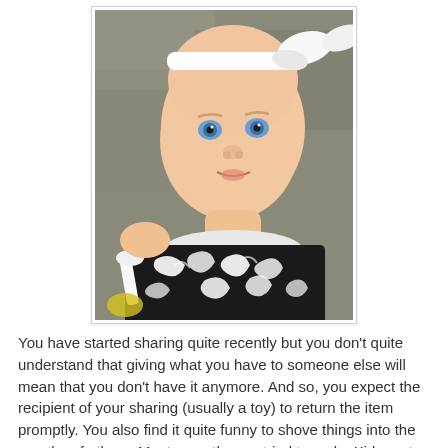[Figure (photo): Close-up photo of a baby with blue eyes wearing a white headband bow and a black and white floral/scroll pattern dress or bib. The baby is looking slightly upward.]
You have started sharing quite recently but you don't quite understand that giving what you have to someone else will mean that you don't have it anymore. And so, you expect the recipient of your sharing (usually a toy) to return the item promptly. You also find it quite funny to shove things into the mouths of others. Most recently, you tried to make Kirby eat a clothespin (which he did open his mouth, likely so you'd